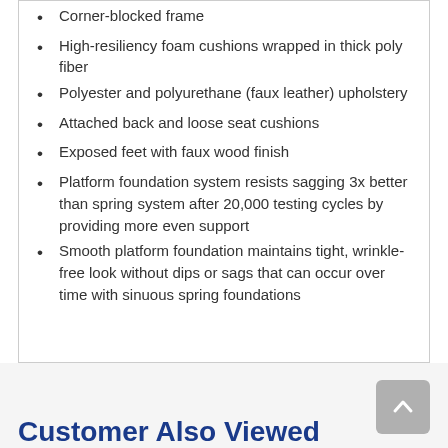Corner-blocked frame
High-resiliency foam cushions wrapped in thick poly fiber
Polyester and polyurethane (faux leather) upholstery
Attached back and loose seat cushions
Exposed feet with faux wood finish
Platform foundation system resists sagging 3x better than spring system after 20,000 testing cycles by providing more even support
Smooth platform foundation maintains tight, wrinkle-free look without dips or sags that can occur over time with sinuous spring foundations
Customer Also Viewed